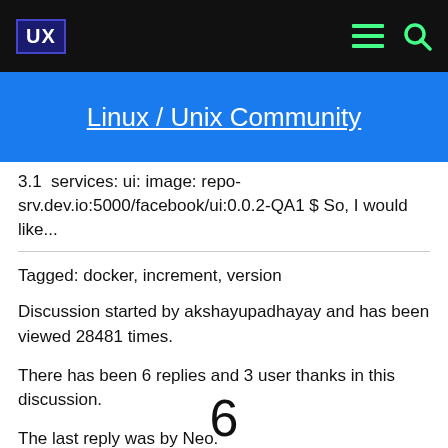[Figure (logo): UX logo in dark blue box on black navigation bar with green hamburger menu and search icons]
Linux / Unix Community
3.1  services: ui: image: repo-srv.dev.io:5000/facebook/ui:0.0.2-QA1 $ So, I would like...
Tagged: docker, increment, version
Discussion started by akshayupadhayay and has been viewed 28481 times.
There has been 6 replies and 3 user thanks in this discussion.
The last reply was by Neo.
6